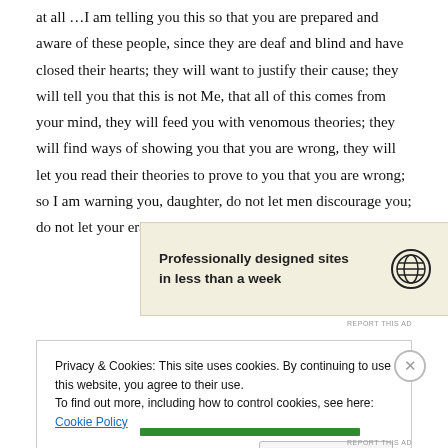at all …I am telling you this so that you are prepared and aware of these people, since they are deaf and blind and have closed their hearts; they will want to justify their cause; they will tell you that this is not Me, that all of this comes from your mind, they will feed you with venomous theories; they will find ways of showing you that you are wrong, they will let you read their theories to prove to you that you are wrong; so I am warning you, daughter, do not let men discourage you; do not let your era destroy you [source]
[Figure (other): WordPress advertisement banner: 'Professionally designed sites in less than a week' with WordPress logo]
REPORT THIS AD
Privacy & Cookies: This site uses cookies. By continuing to use this website, you agree to their use. To find out more, including how to control cookies, see here: Cookie Policy
Close and accept